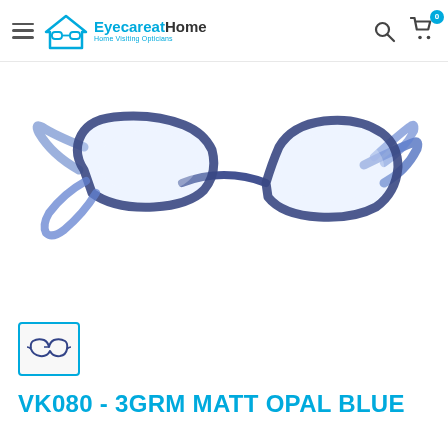EyecareAtHome - Home Visiting Opticians
[Figure (photo): Product photo of VK080 3GRM Matt Opal Blue eyeglasses frames, shown at an angle on white background. Rectangular dark navy/blue frames with blue temples.]
[Figure (photo): Thumbnail image of the same VK080 3GRM Matt Opal Blue eyeglasses, small icon view, selected (highlighted with blue border).]
VK080 - 3GRM MATT OPAL BLUE